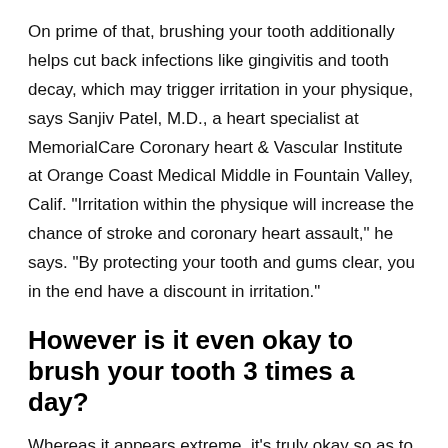On prime of that, brushing your tooth additionally helps cut back infections like gingivitis and tooth decay, which may trigger irritation in your physique, says Sanjiv Patel, M.D., a heart specialist at MemorialCare Coronary heart & Vascular Institute at Orange Coast Medical Middle in Fountain Valley, Calif. "Irritation within the physique will increase the chance of stroke and coronary heart assault," he says. "By protecting your tooth and gums clear, you in the end have a discount in irritation."
However is it even okay to brush your tooth 3 times a day?
Whereas it appears extreme, it's truly okay so as to add an additional brushing to your routine, supplied you're doing it proper, says Mark S. Wolff, D.D.S., Ph.D., dean on the College of Pennsylvania Faculty of Dental Medication. "So long as you sweep with a fluoride-containing toothpaste and also you're not